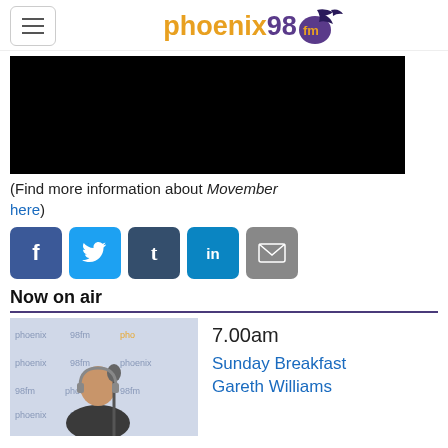phoenix 98 fm
[Figure (photo): Black video player rectangle]
(Find more information about Movember here)
[Figure (infographic): Social media sharing buttons: Facebook, Twitter, Tumblr, LinkedIn, Email]
Now on air
[Figure (photo): Photo of DJ Gareth Williams standing at microphone in Phoenix 98fm studio with branded backdrop]
7.00am
Sunday Breakfast
Gareth Williams
Coming up